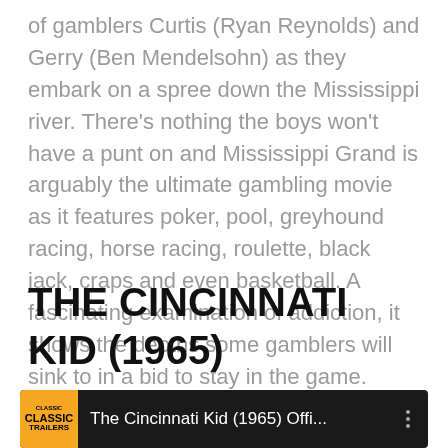of gamblers Curtis (Ryan Reynolds) and Gerry (Ben Mendelsohn) as they embark on a spree down the Mississippi river. There's nothing the boys won't have a punt on and Mississippi Grand is arguably the ultimate gambling movie as it features poker, pool, greyhound racing, horse racing, roulette, black jack, craps and even basketball. A fascinating examination of addiction, it shows the depths some gamblers will sink to in a bid to stay in the game.
THE CINCINNATI KID (1965)
[Figure (screenshot): YouTube video thumbnail for 'The Cincinnati Kid (1965) Offi...' with Classic Trailers badge logo on dark background]